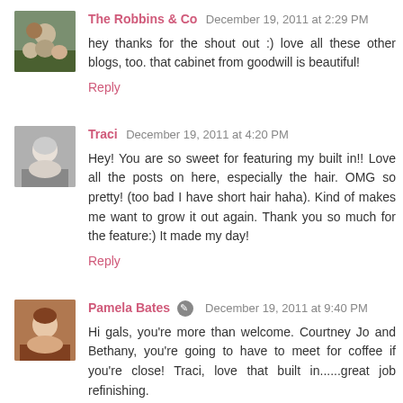The Robbins & Co December 19, 2011 at 2:29 PM
hey thanks for the shout out :) love all these other blogs, too. that cabinet from goodwill is beautiful!
Reply
Traci December 19, 2011 at 4:20 PM
Hey! You are so sweet for featuring my built in!! Love all the posts on here, especially the hair. OMG so pretty! (too bad I have short hair haha). Kind of makes me want to grow it out again. Thank you so much for the feature:) It made my day!
Reply
Pamela Bates December 19, 2011 at 9:40 PM
Hi gals, you're more than welcome. Courtney Jo and Bethany, you're going to have to meet for coffee if you're close! Traci, love that built in......great job refinishing.
Reply